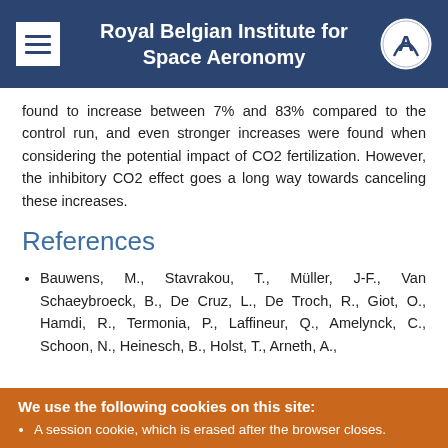Royal Belgian Institute for Space Aeronomy
found to increase between 7% and 83% compared to the control run, and even stronger increases were found when considering the potential impact of CO2 fertilization. However, the inhibitory CO2 effect goes a long way towards canceling these increases.
References
Bauwens, M., Stavrakou, T., Müller, J-F., Van Schaeybroeck, B., De Cruz, L., De Troch, R., Giot, O., Hamdi, R., Termonia, P., Laffineur, Q., Amelynck, C., Schoon, N., Heinesch, B., Holst, T., Arneth, A.,
We use the following cookies on this site:
A session cookie, which is erased after the browser closes.